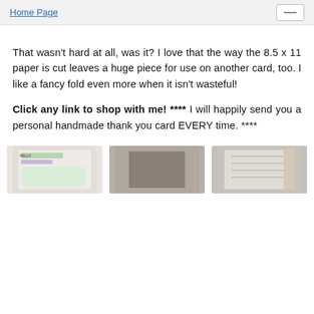Home Page
That wasn't hard at all, was it? I love that the way the 8.5 x 11 paper is cut leaves a huge piece for use on another card, too. I like a fancy fold even more when it isn't wasteful!
Click any link to shop with me! **** I will happily send you a personal handmade thank you card EVERY time. ****
[Figure (photo): Three product images side by side at bottom of page]